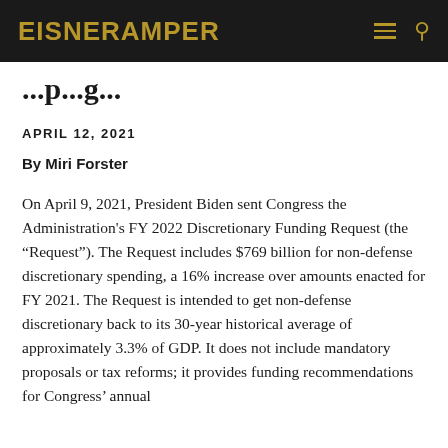EisnerAmper
APRIL 12, 2021
By Miri Forster
On April 9, 2021, President Biden sent Congress the Administration's FY 2022 Discretionary Funding Request (the “Request”). The Request includes $769 billion for non-defense discretionary spending, a 16% increase over amounts enacted for FY 2021. The Request is intended to get non-defense discretionary back to its 30-year historical average of approximately 3.3% of GDP. It does not include mandatory proposals or tax reforms; it provides funding recommendations for Congress’ annual